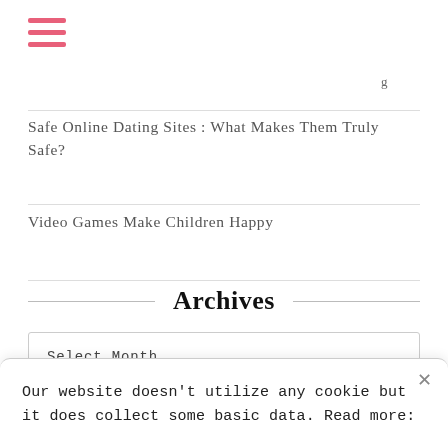[Figure (other): Pink hamburger menu icon with three horizontal lines]
Safe Online Dating Sites : What Makes Them Truly Safe?
Video Games Make Children Happy
Archives
Select Month
Our website doesn't utilize any cookie but it does collect some basic data. Read more: